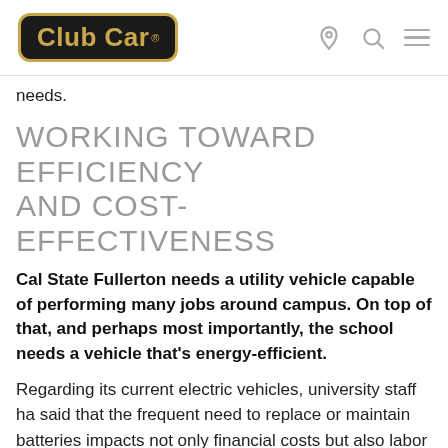Club Car
needs.
WORKING TOWARD EFFICIENCY AND COST-EFFECTIVENESS
Cal State Fullerton needs a utility vehicle capable of performing many jobs around campus. On top of that, and perhaps most importantly, the school needs a vehicle that's energy-efficient.
Regarding its current electric vehicles, university staff ha said that the frequent need to replace or maintain batteries impacts not only financial costs but also labor